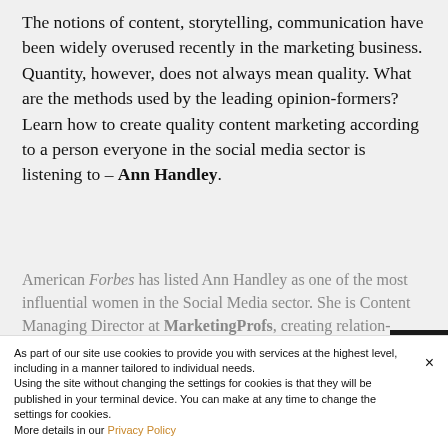The notions of content, storytelling, communication have been widely overused recently in the marketing business. Quantity, however, does not always mean quality. What are the methods used by the leading opinion-formers? Learn how to create quality content marketing according to a person everyone in the social media sector is listening to – Ann Handley.
American Forbes has listed Ann Handley as one of the most influential women in the Social Media sector. She is Content Managing Director at MarketingProfs, creating relation-building digital content for organizations and individual people. Her passion is forming communities, especially with
As part of our site use cookies to provide you with services at the highest level, including in a manner tailored to individual needs.
Using the site without changing the settings for cookies is that they will be published in your terminal device. You can make at any time to change the settings for cookies.
More details in our Privacy Policy